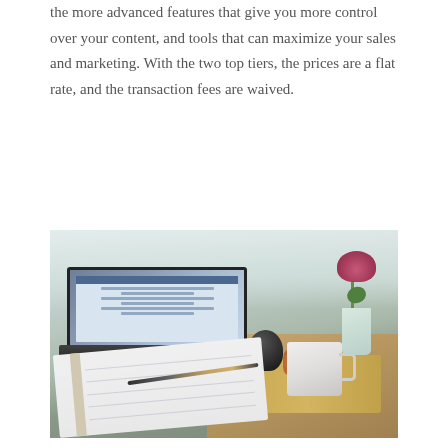the more advanced features that give you more control over your content, and tools that can maximize your sales and marketing. With the two top tiers, the prices are a flat rate, and the transaction fees are waived.
[Figure (photo): A laptop open on a desk displaying a web interface, beside an open notebook with a pen, a white mug, a small round black bottle, a clear vase with pink flowers, and a wooden cutting board, all near a bright window.]